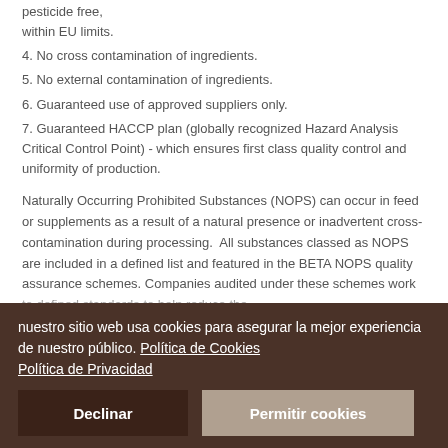pesticide free, within EU limits.
4. No cross contamination of ingredients.
5. No external contamination of ingredients.
6. Guaranteed use of approved suppliers only.
7. Guaranteed HACCP plan (globally recognized Hazard Analysis Critical Control Point) - which ensures first class quality control and uniformity of production.
Naturally Occurring Prohibited Substances (NOPS) can occur in feed or supplements as a result of a natural presence or inadvertent cross-contamination during processing.  All substances classed as NOPS are included in a defined list and featured in the BETA NOPS quality assurance schemes. Companies audited under these schemes work to defined standards to help reduce the
nuestro sitio web usa cookies para asegurar la mejor experiencia de nuestro público. Política de Cookies Política de Privacidad
Declinar
Permitir cookies